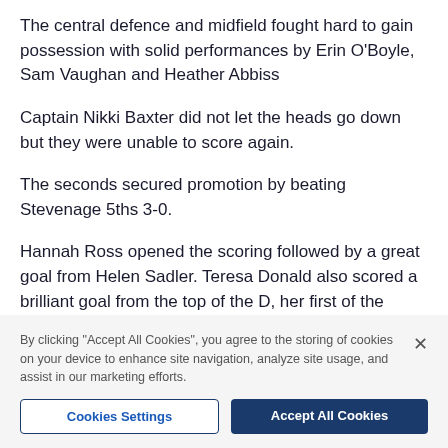The central defence and midfield fought hard to gain possession with solid performances by Erin O'Boyle, Sam Vaughan and Heather Abbiss
Captain Nikki Baxter did not let the heads go down but they were unable to score again.
The seconds secured promotion by beating Stevenage 5ths 3-0.
Hannah Ross opened the scoring followed by a great goal from Helen Sadler. Teresa Donald also scored a brilliant goal from the top of the D, her first of the season.
By clicking "Accept All Cookies", you agree to the storing of cookies on your device to enhance site navigation, analyze site usage, and assist in our marketing efforts.
Cookies Settings
Accept All Cookies